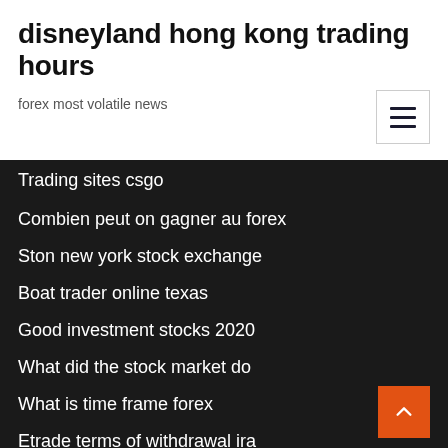disneyland hong kong trading hours
forex most volatile news
Trading sites csgo
Combien peut on gagner au forex
Ston new york stock exchange
Boat trader online texas
Good investment stocks 2020
What did the stock market do
What is time frame forex
Etrade terms of withdrawal ira
20 cent stocks
What is...